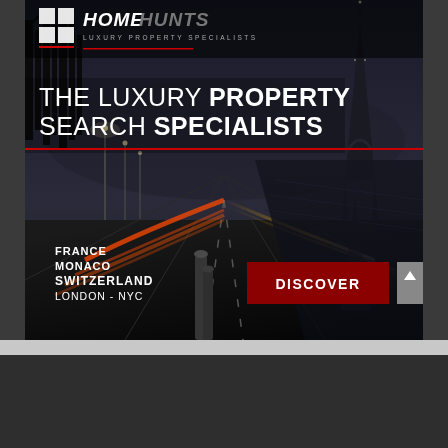[Figure (illustration): Home Hunts luxury property specialists advertisement banner. Dark atmospheric photo of Paris at night showing a road with light trails and the Eiffel Tower reflected in water. Logo at top with 'HOME HUNTS LUXURY PROPERTY SPECIALISTS'. Headline text: 'THE LUXURY PROPERTY SEARCH SPECIALISTS'. Countries listed: FRANCE, MONACO, SWITZERLAND, LONDON - NYC. Red DISCOVER button.]